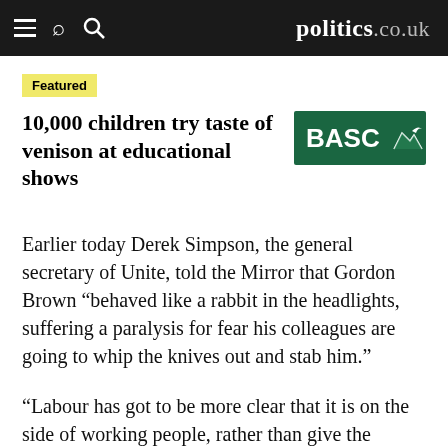politics.co.uk
Featured
10,000 children try taste of venison at educational shows
[Figure (logo): BASC logo — green rectangle with white text 'BASC' and a bird silhouette]
Earlier today Derek Simpson, the general secretary of Unite, told the Mirror that Gordon Brown “behaved like a rabbit in the headlights, suffering a paralysis for fear his colleagues are going to whip the knives out and stab him.”
“Labour has got to be more clear that it is on the side of working people, rather than give the